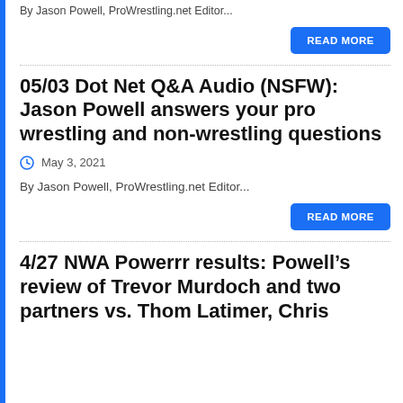By Jason Powell, ProWrestling.net Editor...
READ MORE
05/03 Dot Net Q&A Audio (NSFW): Jason Powell answers your pro wrestling and non-wrestling questions
May 3, 2021
By Jason Powell, ProWrestling.net Editor...
READ MORE
4/27 NWA Powerrr results: Powell’s review of Trevor Murdoch and two partners vs. Thom Latimer, Chris